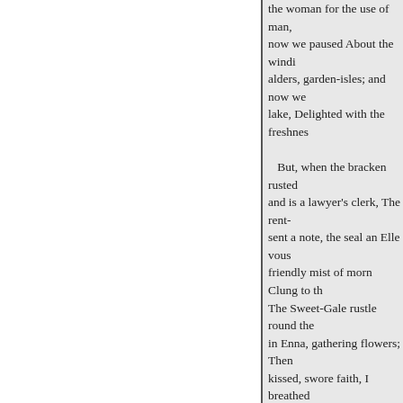the woman for the use of man, now we paused About the windi alders, garden-isles; and now we lake, Delighted with the freshnes
But, when the bracken rusted and is a lawyer's clerk, The rent- sent a note, the seal an Elle vous friendly mist of morn Clung to th The Sweet-Gale rustle round the in Enna, gathering flowers; Then kissed, swore faith, I
breathed
In some new planet; a silent cous
Upon us and departed. "Lea "O leave me!" Never, deare
66
VOL. I.
11
« Previous